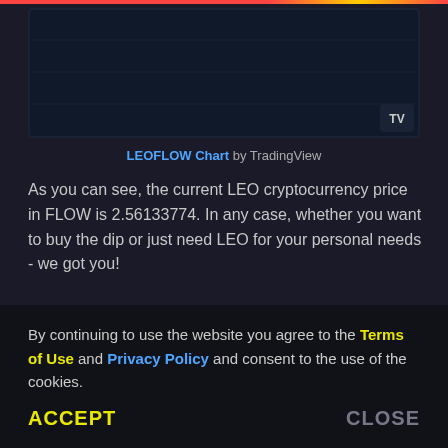[Figure (screenshot): TradingView chart widget showing LEOFLOW price chart with dark background and TradingView logo watermark in bottom-right corner]
LEOFLOW Chart by TradingView
As you can see, the current LEO cryptocurrency price in FLOW is 2.56133774. In any case, whether you want to buy the dip or just need LEO for your personal needs - we got you!
By continuing to use the website you agree to the Terms of Use and Privacy Policy and consent to the use of the cookies.
ACCEPT
CLOSE